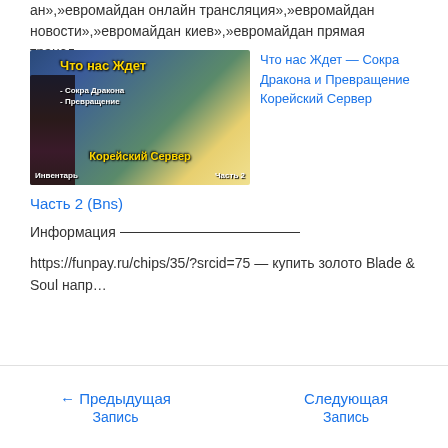ан»,»евромайдан онлайн трансляция»,»евромайдан новости»,»евромайдан киев»,»евромайдан прямая трансл…
[Figure (illustration): Gaming/anime style banner image with text in Russian: 'Что нас Ждет' (What awaits us), '-Сокра Дракона' (-Sokra Dragona), '-Превращение' (-Transformation), 'Корейский Сервер' (Korean Server), 'Инвентарь' (Inventory), 'Часть 2' (Part 2). Features anime character figure on left side.]
Что нас Ждет — Сокра Дракона и Превращение Корейский Сервер
Часть 2 (Bns)
Информация —
https://funpay.ru/chips/35/?srcid=75 — купить золото Blade & Soul напр…
← Предыдущая Запись    Следующая Запись